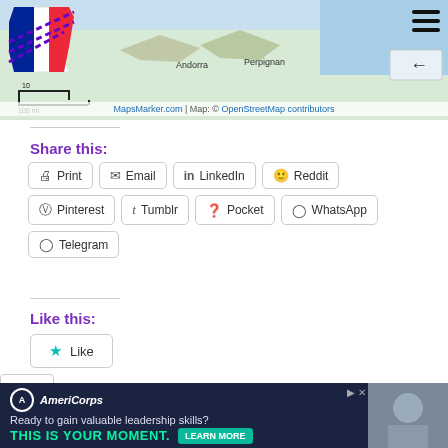[Figure (map): Map of southern France/Andorra region with France flag logo overlay in top-left, hamburger menu top-right, scale bar, back button, and OpenStreetMap attribution.]
Share this:
Print
Email
LinkedIn
Reddit
Pinterest
Tumblr
Pocket
WhatsApp
Telegram
Like this:
Like
Be the first to like this.
[Figure (infographic): AmeriCorps advertisement banner: 'Ready to gain valuable leadership skills? THIS IS YOUR MOMENT. LEARN MORE']